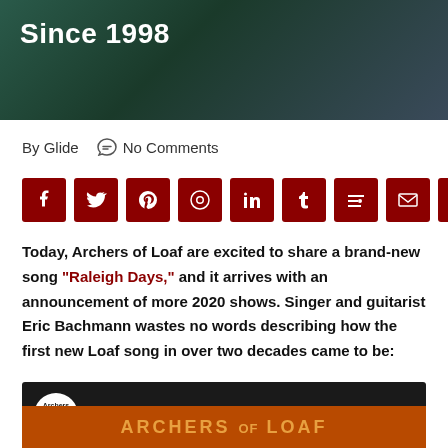[Figure (photo): Dark background photo with text overlay reading 'Since 1998' in bold white letters]
By Glide   💬 No Comments
[Figure (infographic): Row of 9 dark red square social share buttons: Facebook, Twitter, Pinterest, Reddit, LinkedIn, Tumblr, Mix, Email, WhatsApp]
Today, Archers of Loaf are excited to share a brand-new song "Raleigh Days," and it arrives with an announcement of more 2020 shows. Singer and guitarist Eric Bachmann wastes no words describing how the first new Loaf song in over two decades came to be:
[Figure (screenshot): YouTube video thumbnail for 'Archers of Loaf - Raleigh Days (O...' with the Archers of Loaf circular logo and orange background showing 'ARCHERS OF LOAF' text]